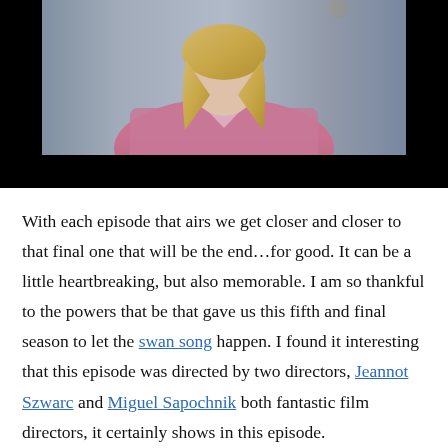[Figure (photo): A woman with blonde hair wearing a pink/mauve marled top, sitting in what appears to be an interview or studio setting. The lower portion of the image has a black bar (letterbox).]
With each episode that airs we get closer and closer to that final one that will be the end…for good. It can be a little heartbreaking, but also memorable. I am so thankful to the powers that be that gave us this fifth and final season to let the swan song happen. I found it interesting that this episode was directed by two directors, Jeannot Szwarc and Miguel Sapochnik both fantastic film directors, it certainly shows in this episode.
Transciliense Thought Unifier Model 11: